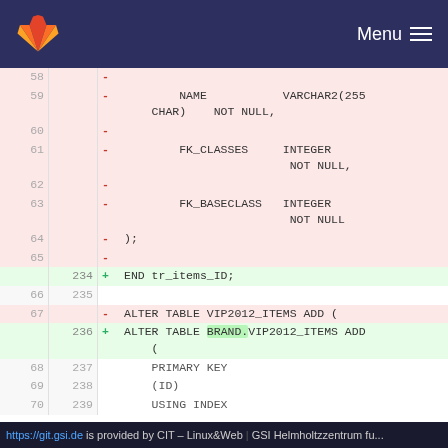[Figure (screenshot): GitLab navigation bar with logo and Menu button]
Git diff view showing SQL code differences. Removed lines (red): 58-65 showing NAME VARCHAR2(255 CHAR) NOT NULL, FK_CLASSES INTEGER NOT NULL, FK_BASECLASS INTEGER NOT NULL, );. Added line 234: + END tr_items_ID;. Lines 66/235 context. Line 67 removed: - ALTER TABLE VIP2012_ITEMS ADD (. Line 236 added: + ALTER TABLE BRAND.VIP2012_ITEMS ADD (. Lines 68-70/237-239: PRIMARY KEY (ID) USING INDEX
https://git.gsi.de is provided by CIT – Linux&Web | GSI Helmholtzzentrum fu...